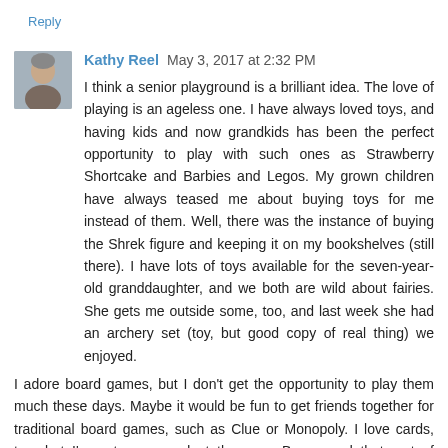Reply
Kathy Reel  May 3, 2017 at 2:32 PM
I think a senior playground is a brilliant idea. The love of playing is an ageless one. I have always loved toys, and having kids and now grandkids has been the perfect opportunity to play with such ones as Strawberry Shortcake and Barbies and Legos. My grown children have always teased me about buying toys for me instead of them. Well, there was the instance of buying the Shrek figure and keeping it on my bookshelves (still there). I have lots of toys available for the seven-year-old granddaughter, and we both are wild about fairies. She gets me outside some, too, and last week she had an archery set (toy, but good copy of real thing) we enjoyed.
I adore board games, but I don't get the opportunity to play them much these days. Maybe it would be fun to get friends together for traditional board games, such as Clue or Monopoly. I love cards, too, but I'm not very good at them, so Bunco and that sort of gathering really isn't for me. My